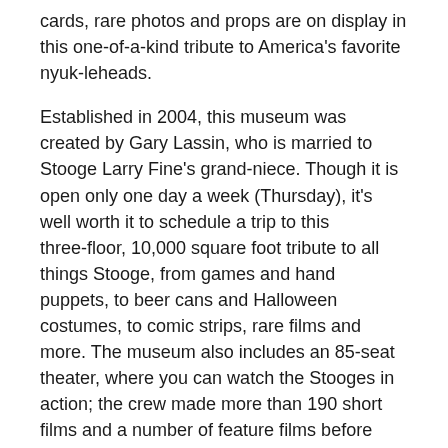cards, rare photos and props are on display in this one-of-a-kind tribute to America's favorite nyuk-leheads.
Established in 2004, this museum was created by Gary Lassin, who is married to Stooge Larry Fine's grand-niece. Though it is open only one day a week (Thursday), it's well worth it to schedule a trip to this three-floor, 10,000 square foot tribute to all things Stooge, from games and hand puppets, to beer cans and Halloween costumes, to comic strips, rare films and more. The museum also includes an 85-seat theater, where you can watch the Stooges in action; the crew made more than 190 short films and a number of feature films before their last appearance in 1970.The top floor is dedicated to an art gallery of fan and professional art, and includes work by Mad Magazine's Mort Drucker and the New York Times' caricaturist Al Hirschfeld, among others.
"Forever is a long time, but with a little luck, we just might make it." Moe Howard is quoted as saying in a